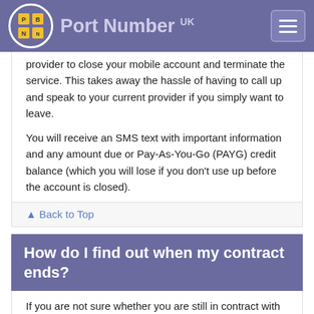Port Number UK
provider to close your mobile account and terminate the service. This takes away the hassle of having to call up and speak to your current provider if you simply want to leave.

You will receive an SMS text with important information and any amount due or Pay-As-You-Go (PAYG) credit balance (which you will lose if you don't use up before the account is closed).
▲ Back to Top
How do I find out when my contract ends?
If you are not sure whether you are still in contract with your current mobile network, simply text INFO to 85075 to receive an SMS text message reply containing this information, including any charges to pay to end your contract early if you